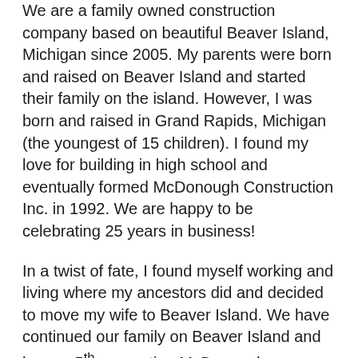We are a family owned construction company based on beautiful Beaver Island, Michigan since 2005. My parents were born and raised on Beaver Island and started their family on the island. However, I was born and raised in Grand Rapids, Michigan (the youngest of 15 children). I found my love for building in high school and eventually formed McDonough Construction Inc. in 1992. We are happy to be celebrating 25 years in business!
In a twist of fate, I found myself working and living where my ancestors did and decided to move my wife to Beaver Island. We have continued our family on Beaver Island and have a 5th generation McDonough (daughter) living on the 150 year old family property.
McDonough Construction has worked on projects costing from hundreds of dollars to multi-million dollar projects. Plenty of them in between. There is no project